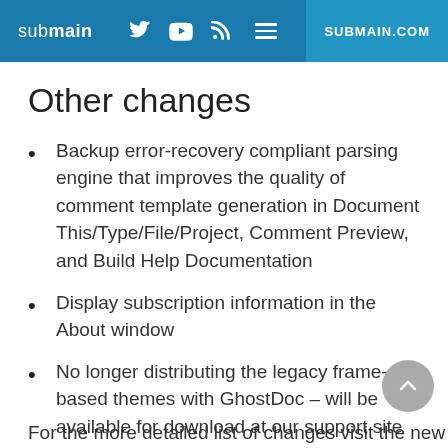submain  SUBMAIN.COM
Other changes
Backup error-recovery compliant parsing engine that improves the quality of comment template generation in Document This/Type/File/Project, Comment Preview, and Build Help Documentation
Display subscription information in the About window
No longer distributing the legacy frame-based themes with GhostDoc – will be available for download at our support site